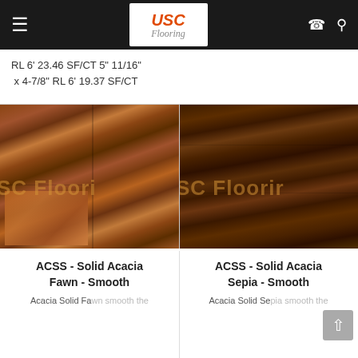USC Flooring
RL 6' 23.46 SF/CT 5" 11/16" x 4-7/8" RL 6' 19.37 SF/CT
[Figure (photo): Acacia solid hardwood flooring in Fawn finish, smooth surface, warm brown tones with USC Flooring watermark]
ACSS - Solid Acacia Fawn - Smooth
Acacia Solid Fawn smooth the
[Figure (photo): Acacia solid hardwood flooring in Sepia finish, smooth surface, dark brown tones with USC Flooring watermark]
ACSS - Solid Acacia Sepia - Smooth
Acacia Solid Sepia smooth the